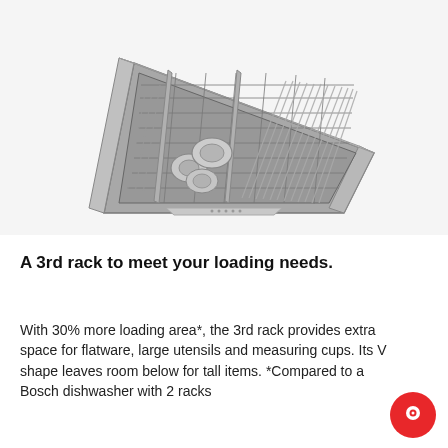[Figure (photo): A Bosch dishwasher 3rd rack (top drawer rack) shown from above at an angle, filled with flatware, utensils, and round items like spatula handles. The rack is gray/silver colored with multiple compartment dividers and a front handle strip.]
A 3rd rack to meet your loading needs.
With 30% more loading area*, the 3rd rack provides extra space for flatware, large utensils and measuring cups. Its V shape leaves room below for tall items. *Compared to a Bosch dishwasher with 2 racks